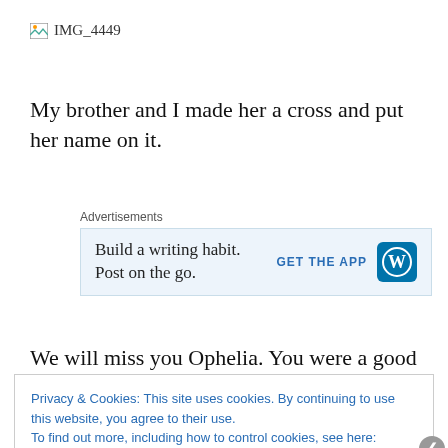[Figure (other): Broken image placeholder labeled IMG_4449]
My brother and I made her a cross and put her name on it.
[Figure (other): Advertisement banner: Build a writing habit. Post on the go. GET THE APP [WordPress logo]]
We will miss you Ophelia. You were a good chicken.
Privacy & Cookies: This site uses cookies. By continuing to use this website, you agree to their use. To find out more, including how to control cookies, see here: Cookie Policy